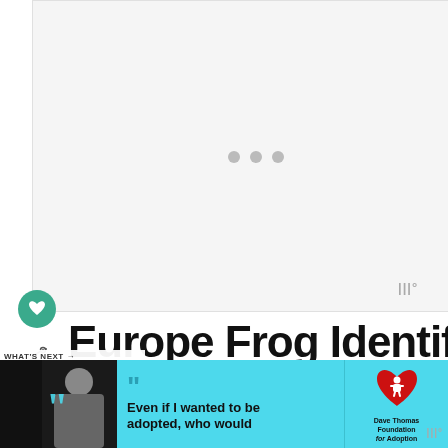[Figure (photo): Large white/light gray image area with loading indicator (three gray dots) in the center, representing a loading image placeholder]
[Figure (illustration): Tidal music app logo/icon in top right area]
[Figure (illustration): Green circular heart/like button icon on left side]
[Figure (illustration): Share button icon on left side]
Europe Frog Identification Chart
WHAT'S NEXT → What Toad is This? Toad...
[Figure (photo): Small circular thumbnail image showing a frog/toad, brown/green colored]
[Figure (photo): Advertisement banner at bottom with black and white photo of a woman on left, cyan/teal background with text 'Even if I wanted to be adopted, who would' and Dave Thomas Foundation for Adoption logo]
Even if I wanted to be adopted, who would
[Figure (logo): Dave Thomas Foundation for Adoption logo with red heart and child icon]